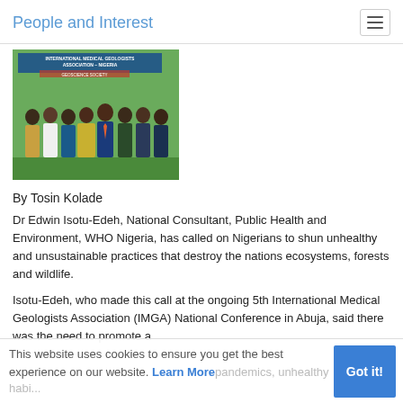People and Interest
[Figure (photo): Group photo of several people standing in front of a banner reading International Medical Geologists Association - Nigeria, taken at a conference venue with green backdrop.]
By Tosin Kolade
Dr Edwin Isotu-Edeh, National Consultant, Public Health and Environment, WHO Nigeria, has called on Nigerians to shun unhealthy and unsustainable practices that destroy the nations ecosystems, forests and wildlife.
Isotu-Edeh, who made this call at the ongoing 5th International Medical Geologists Association (IMGA) National Conference in Abuja, said there was the need to promote a healthy lifestyle, and implementing health programs
This website uses cookies to ensure you get the best experience on our website. Learn More pandemics, unhealthy habi...